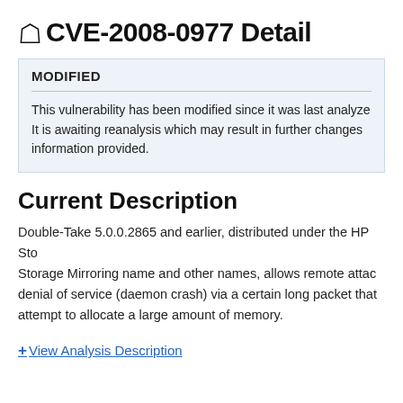CVE-2008-0977 Detail
MODIFIED
This vulnerability has been modified since it was last analyzed. It is awaiting reanalysis which may result in further changes to the information provided.
Current Description
Double-Take 5.0.0.2865 and earlier, distributed under the HP StorageWorks Storage Mirroring name and other names, allows remote attackers to cause a denial of service (daemon crash) via a certain long packet that triggers an attempt to allocate a large amount of memory.
+View Analysis Description